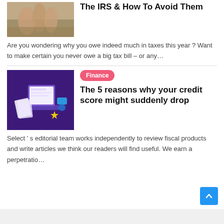[Figure (photo): Person's hands touching sand or dirt surface - article thumbnail image]
The IRS & How To Avoid Them
Are you wondering why you owe indeed much in taxes this year ? Want to make certain you never owe a big tax bill – or any…
[Figure (illustration): Purple background with illustrated laptop and papers - finance article thumbnail image]
Finance
The 5 reasons why your credit score might suddenly drop
Select ' s editorial team works independently to review fiscal products and write articles we think our readers will find useful. We earn a perpetratio…